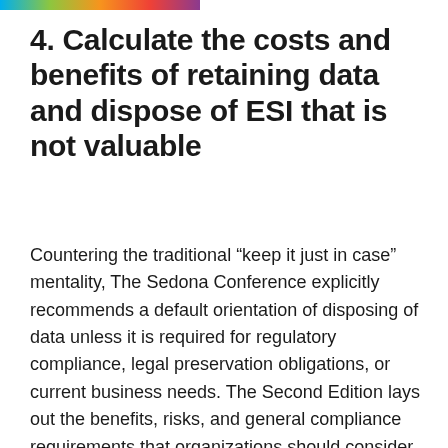4. Calculate the costs and benefits of retaining data and dispose of ESI that is not valuable
Countering the traditional “keep it just in case” mentality, The Sedona Conference explicitly recommends a default orientation of disposing of data unless it is required for regulatory compliance, legal preservation obligations, or current business needs. The Second Edition lays out the benefits, risks, and general compliance requirements that organizations should consider when determining the value of data and emphasizes that “the business value decreases